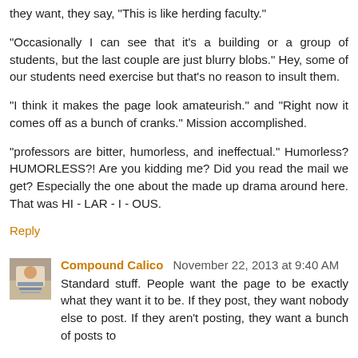they want, they say, "This is like herding faculty."
"Occasionally I can see that it's a building or a group of students, but the last couple are just blurry blobs." Hey, some of our students need exercise but that's no reason to insult them.
"I think it makes the page look amateurish." and "Right now it comes off as a bunch of cranks." Mission accomplished.
"professors are bitter, humorless, and ineffectual." Humorless? HUMORLESS?! Are you kidding me? Did you read the mail we get? Especially the one about the made up drama around here. That was HI - LAR - I - OUS.
Reply
Compound Calico November 22, 2013 at 9:40 AM
Standard stuff. People want the page to be exactly what they want it to be. If they post, they want nobody else to post. If they aren't posting, they want a bunch of posts to